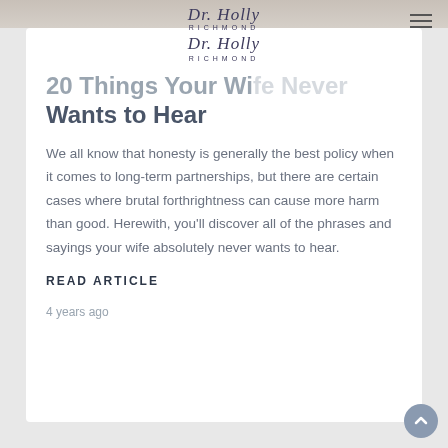Dr. Holly Richmond
20 Things Your Wife Never Wants to Hear
We all know that honesty is generally the best policy when it comes to long-term partnerships, but there are certain cases where brutal forthrightness can cause more harm than good. Herewith, you'll discover all of the phrases and sayings your wife absolutely never wants to hear.
READ ARTICLE
4 years ago